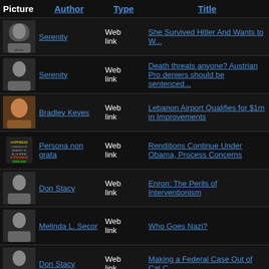| Picture | Author | Type | Title |
| --- | --- | --- | --- |
| [img] | Serenity | Web link | She Survived Hitler And Wants to W... |
| [img] | Serenity | Web link | Death threats anyone? Austrian Pro deniers should be sentenced... |
| [img] | Bradley Keyes | Web link | Lebanon Airport Qualifies for $1m in Improvements |
| [img] | Persona non grata | Web link | Renditions Continue Under Obama, Process Concerns |
| [img] | Don Stacy | Web link | Enron: The Perils of Interventionism |
| [img] | Melinda L. Secor | Web link | Who Goes Nazi? |
| [img] | Don Stacy | Web link | Making a Federal Case Out of Cat C... |
| [img] | Eric Field | Web link | Was Hitler Really Anti-Gun Control? |